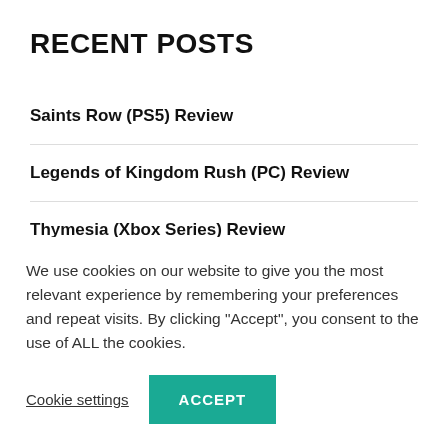RECENT POSTS
Saints Row (PS5) Review
Legends of Kingdom Rush (PC) Review
Thymesia (Xbox Series) Review
— partially visible/cut off
We use cookies on our website to give you the most relevant experience by remembering your preferences and repeat visits. By clicking “Accept”, you consent to the use of ALL the cookies.
Cookie settings | ACCEPT